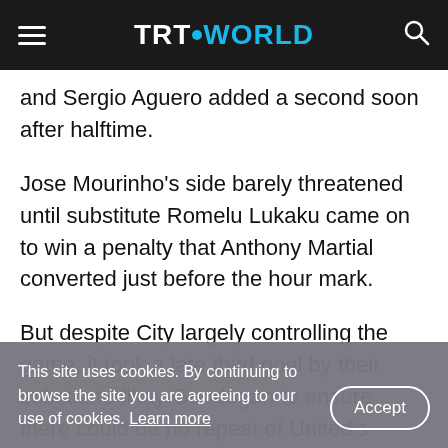TRT WORLD
and Sergio Aguero added a second soon after halftime.
Jose Mourinho's side barely threatened until substitute Romelu Lukaku came on to win a penalty that Anthony Martial converted just before the hour mark.
But despite City largely controlling the game, it took a late third goal by their substitute Ilkay Gundogan to ensure there could be no repeat of United's dramatic comeback to win 3-2 in the same fixture
This site uses cookies. By continuing to browse the site you are agreeing to our use of cookies. Learn more